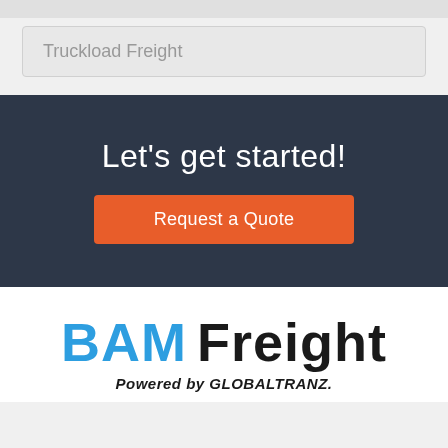Truckload Freight
Let's get started!
Request a Quote
[Figure (logo): BAM Freight logo with 'Powered by GLOBALTRANZ' tagline. BAM in blue bold, Freight in black bold.]